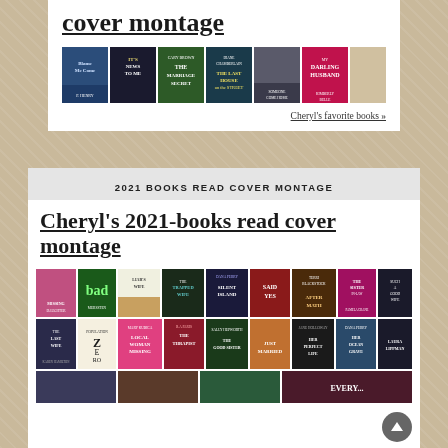cover montage
[Figure (illustration): Horizontal strip of book covers including titles such as 'Blame Me', 'It's News to Me', 'The Marriage Secret', 'The Last House on the Street', 'Somebody Come Home', 'My Darling Husband']
Cheryl's favorite books »
2021 BOOKS READ COVER MONTAGE
Cheryl's 2021-books read cover montage
[Figure (illustration): First row of 2021 book covers including: Missing Daughter, Bad, Liar's Wife, The Trapped Wife, Silent Island, Said Yes, After Math, The Sister In-Law, Such a Good Wife]
[Figure (illustration): Second row of 2021 book covers including: The Last Wife, Population Zero, Local Woman Missing, The Therapist, The Good Sister, Just Married, Her Perfect Life, Her Ocean Grave, Laura Lippman title]